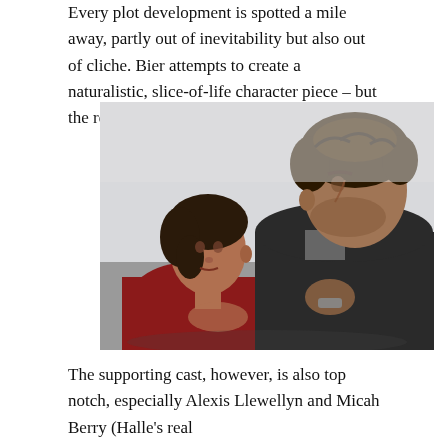Every plot development is spotted a mile away, partly out of inevitability but also out of cliche. Bier attempts to create a naturalistic, slice-of-life character piece – but the result is just boring and unfocused.
[Figure (photo): A woman in a red jacket on the left facing a man in a dark jacket on the right, both seated, looking at each other in close conversation in an indoor setting with light walls.]
The supporting cast, however, is also top notch, especially Alexis Llewellyn and Micah Berry (Halle's real